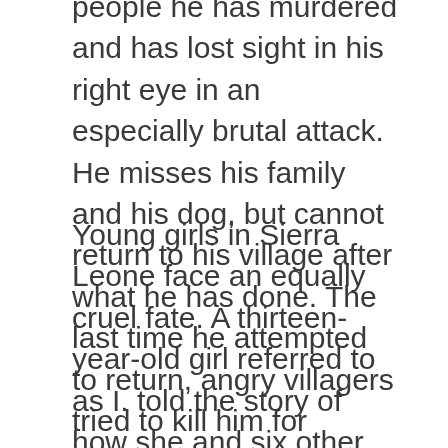people he has murdered and has lost sight in his right eye in an especially brutal attack. He misses his family and his dog, but cannot return to his village after what he has done. The last time he attempted to return, angry villagers tried to kill him for revenge.
Young girls in Sierra Leone face an equally cruel fate. A thirteen-year-old girl referred to as I. told the story of how she and six other girls were abducted, brutally raped, and forced to watch while rebels mutilated and murdered three girls who had dared to resist their attacks. The surviving girls were later bound by the ankles, side by side, and gang-raped for days on end. I. was raped so many times and so brutally that she couldn't walk for two weeks afterward.